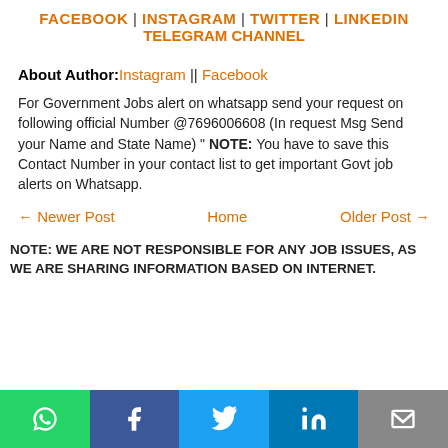FACEBOOK | INSTAGRAM | TWITTER | LINKEDIN TELEGRAM CHANNEL
About Author: Instagram || Facebook
For Government Jobs alert on whatsapp send your request on following official Number @7696006608 (In request Msg Send your Name and State Name) " NOTE: You have to save this Contact Number in your contact list to get important Govt job alerts on Whatsapp.
← Newer Post   Home   Older Post →
NOTE: WE ARE NOT RESPONSIBLE FOR ANY JOB ISSUES, AS WE ARE SHARING INFORMATION BASED ON INTERNET.
[Figure (infographic): Social media share bar with icons for WhatsApp (green), Facebook (dark blue), Twitter (sky blue), LinkedIn (navy blue), and Email (gray)]